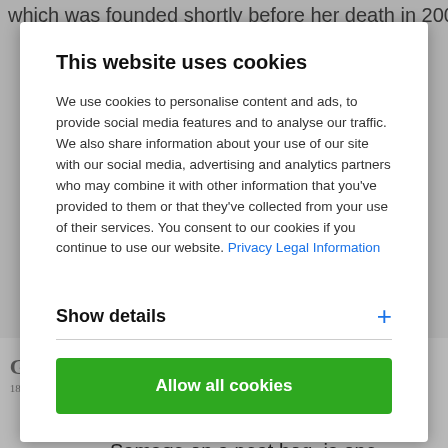which was founded shortly before her death in 2009. It
This website uses cookies
We use cookies to personalise content and ads, to provide social media features and to analyse our traffic. We also share information about your use of our site with our social media, advertising and analytics partners who may combine it with other information that you've provided to them or that they've collected from your use of their services. You consent to our cookies if you continue to use our website. Privacy Legal Information
Show details
Allow all cookies
[Figure (logo): GAARD logo with year 1825]
the traditional glassworks since 1825. The company, founded by Countess Henriette Danneskiold-Samsøe on a peat bog, is one